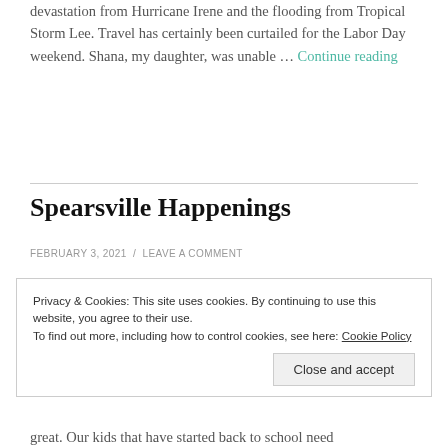devastation from Hurricane Irene and the flooding from Tropical Storm Lee. Travel has certainly been curtailed for the Labor Day weekend. Shana, my daughter, was unable … Continue reading
Spearsville Happenings
FEBRUARY 3, 2021 / LEAVE A COMMENT
Privacy & Cookies: This site uses cookies. By continuing to use this website, you agree to their use.
To find out more, including how to control cookies, see here: Cookie Policy
Close and accept
great. Our kids that have started back to school need